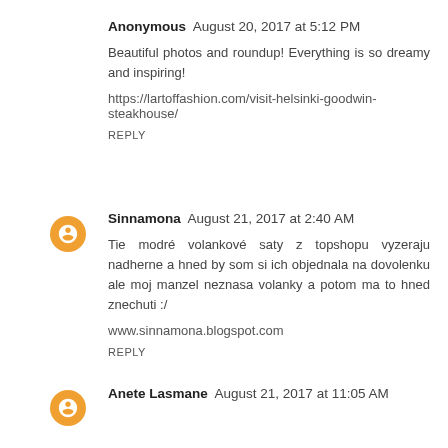Anonymous  August 20, 2017 at 5:12 PM
Beautiful photos and roundup! Everything is so dreamy and inspiring!
https://lartoffashion.com/visit-helsinki-goodwin-steakhouse/
REPLY
Sinnamona  August 21, 2017 at 2:40 AM
Tie modré volankové saty z topshopu vyzeraju nadherne a hned by som si ich objednala na dovolenku ale moj manzel neznasa volanky a potom ma to hned znechuti :/
www.sinnamona.blogspot.com
REPLY
Anete Lasmane  August 21, 2017 at 11:05 AM